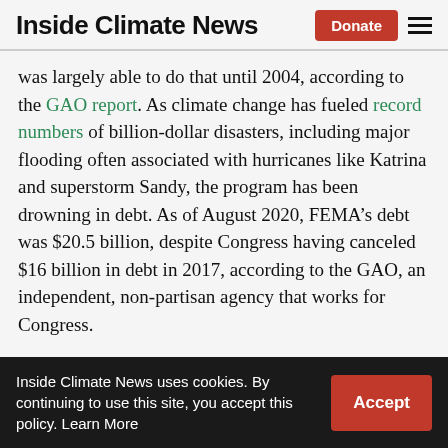Inside Climate News
was largely able to do that until 2004, according to the GAO report. As climate change has fueled record numbers of billion-dollar disasters, including major flooding often associated with hurricanes like Katrina and superstorm Sandy, the program has been drowning in debt. As of August 2020, FEMA’s debt was $20.5 billion, despite Congress having canceled $16 billion in debt in 2017, according to the GAO, an independent, non-partisan agency that works for Congress.
The report is the latest GAO study to issue
Inside Climate News uses cookies. By continuing to use this site, you accept this policy. Learn More